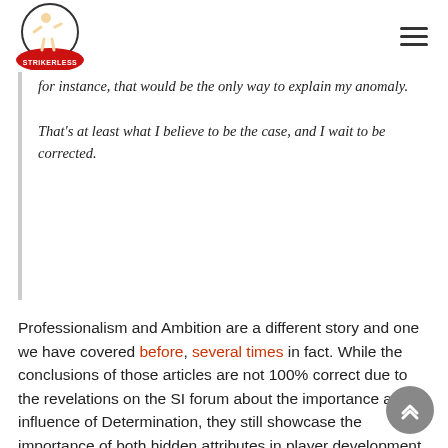Strikerless logo and navigation menu
for instance, that would be the only way to explain my anomaly.

That's at least what I believe to be the case, and I wait to be corrected.
Professionalism and Ambition are a different story and one we have covered before, several times in fact. While the conclusions of those articles are not 100% correct due to the revelations on the SI forum about the importance and influence of Determination, they still showcase the importance of both hidden attributes in player development.